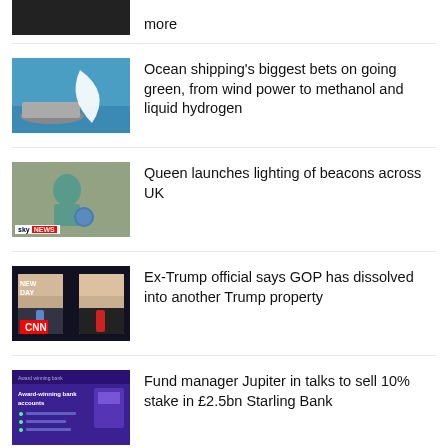more
[Figure (photo): Ship with large white sail on water]
Ocean shipping's biggest bets on going green, from wind power to methanol and liquid hydrogen
[Figure (photo): Queen with Sky News logo overlay]
Queen launches lighting of beacons across UK
[Figure (screenshot): CNN New Day segment showing two men]
Ex-Trump official says GOP has dissolved into another Trump property
[Figure (screenshot): Starling Bank purple website screenshot]
Fund manager Jupiter in talks to sell 10% stake in £2.5bn Starling Bank
NASA's Artemis I Launch: Everything to Know So Far, How to Watch